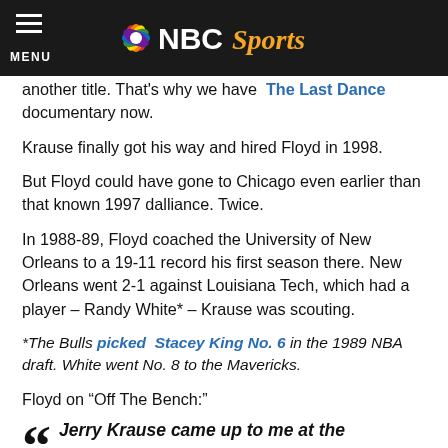NBC Sports — MENU
another title. That's why we have The Last Dance documentary now.
Krause finally got his way and hired Floyd in 1998.
But Floyd could have gone to Chicago even earlier than that known 1997 dalliance. Twice.
In 1988-89, Floyd coached the University of New Orleans to a 19-11 record his first season there. New Orleans went 2-1 against Louisiana Tech, which had a player – Randy White* – Krause was scouting.
*The Bulls picked Stacey King No. 6 in the 1989 NBA draft. White went No. 8 to the Mavericks.
Floyd on “Off The Bench:”
““ Jerry Krause came up to me at the